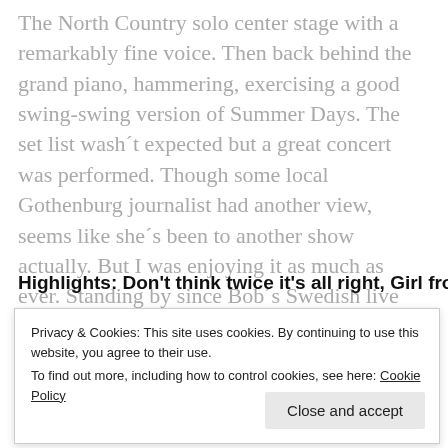The North Country solo center stage with a remarkably fine voice. Then back behind the grand piano, hammering, exercising a good swing-swing version of Summer Days. The set list wash´t expected but a great concert was performed. Though some local Gothenburg journalist had another view, seems like she´s been to another show actually. But I was enjoying it as much as ever. Standing by since Bob´s Swedish live debut, Stockholm 1966. Wow Bob, you´ll be back in a while? Stopping the rain!"
Highlights: Don't think twice it's all right, Girl from the North
Privacy & Cookies: This site uses cookies. By continuing to use this website, you agree to their use.
To find out more, including how to control cookies, see here: Cookie Policy